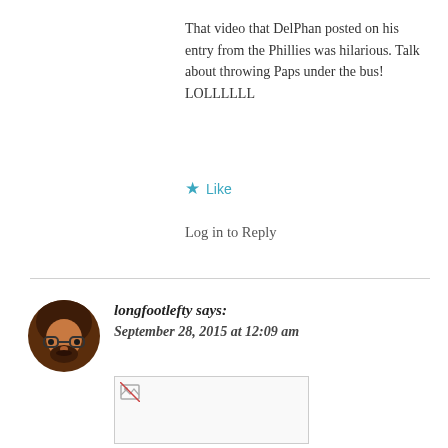That video that DelPhan posted on his entry from the Phillies was hilarious. Talk about throwing Paps under the bus! LOLLLLLL
★ Like
Log in to Reply
longfootlefty says:
September 28, 2015 at 12:09 am
[Figure (photo): Embedded image placeholder in comment, shown as broken image icon with white background and border]